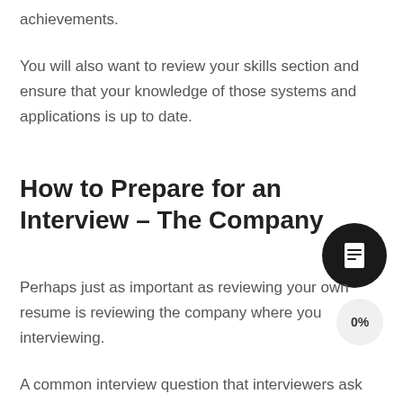achievements.
You will also want to review your skills section and ensure that your knowledge of those systems and applications is up to date.
How to Prepare for an Interview – The Company
Perhaps just as important as reviewing your own resume is reviewing the company where you interviewing.
A common interview question that interviewers ask